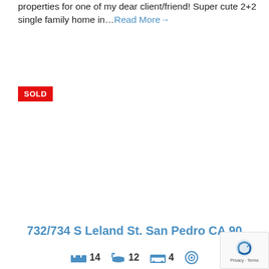properties for one of my dear client/friend! Super cute 2+2 single family home in… Read More→
[Figure (other): SOLD badge — red rectangle with white bold text 'SOLD']
732/734 S Leland St. San Pedro CA 90
14  12  4  (icons for beds, baths, parking, and another amenity)